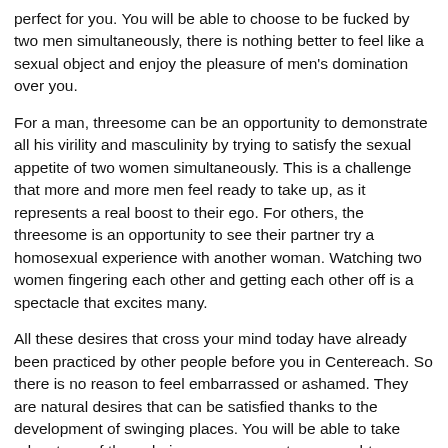perfect for you. You will be able to choose to be fucked by two men simultaneously, there is nothing better to feel like a sexual object and enjoy the pleasure of men's domination over you.
For a man, threesome can be an opportunity to demonstrate all his virility and masculinity by trying to satisfy the sexual appetite of two women simultaneously. This is a challenge that more and more men feel ready to take up, as it represents a real boost to their ego. For others, the threesome is an opportunity to see their partner try a homosexual experience with another woman. Watching two women fingering each other and getting each other off is a spectacle that excites many.
All these desires that cross your mind today have already been practiced by other people before you in Centereach. So there is no reason to feel embarrassed or ashamed. They are natural desires that can be satisfied thanks to the development of swinging places. You will be able to take advantage of them during a sex encounter, a naughty encounter or other. Whether you are a libertine woman or a hedonist man, you will be able to assume it fully, at least in your couple. This in no way obliges you...